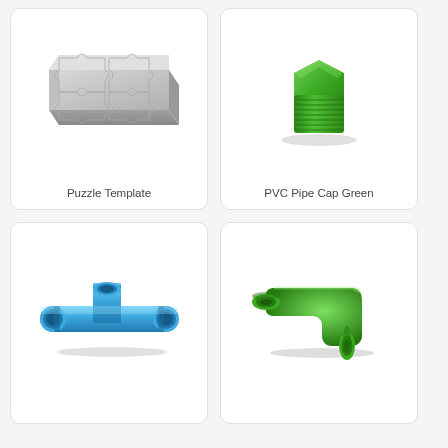[Figure (illustration): Gray metallic puzzle template sheet with interlocking puzzle piece cutouts arranged in a grid pattern]
Puzzle Template
[Figure (illustration): Green PVC pipe cap with hexagonal head and threaded exterior, 3D rendered product image]
PVC Pipe Cap Green
[Figure (illustration): Blue PVC pipe T-junction connector fitting, 3D rendered product image]
[Figure (illustration): Green PVC pipe elbow 90-degree connector fitting, 3D rendered product image]